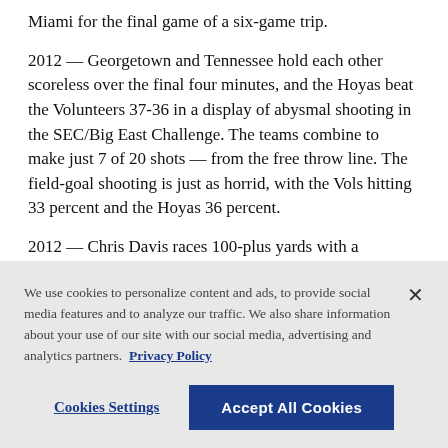Miami for the final game of a six-game trip.
2012 — Georgetown and Tennessee hold each other scoreless over the final four minutes, and the Hoyas beat the Volunteers 37-36 in a display of abysmal shooting in the SEC/Big East Challenge. The teams combine to make just 7 of 20 shots — from the free throw line. The field-goal shooting is just as horrid, with the Vols hitting 33 percent and the Hoyas 36 percent.
2012 — Chris Davis races 100-plus yards with a
We use cookies to personalize content and ads, to provide social media features and to analyze our traffic. We also share information about your use of our site with our social media, advertising and analytics partners. Privacy Policy
Cookies Settings
Accept All Cookies